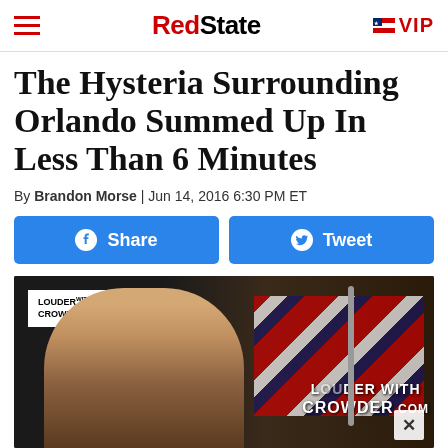RedState — VIP
The Hysteria Surrounding Orlando Summed Up In Less Than 6 Minutes
By Brandon Morse | Jun 14, 2016 6:30 PM ET
[Figure (screenshot): Facebook Share and Twitter Tweet social sharing buttons (blue rounded rectangles)]
[Figure (screenshot): Video thumbnail showing a man in front of a 'Louder with Crowder' logo and microphone setup, partially overlaid by a close (X) button]
[Figure (screenshot): Advertisement banner: 'Save Big on Goodyear Tires — Virginia Tire & Auto of Ashburn ...' with play and arrow icons]
[Figure (screenshot): Bottom red strip partially visible, text appears to read 'ISM']